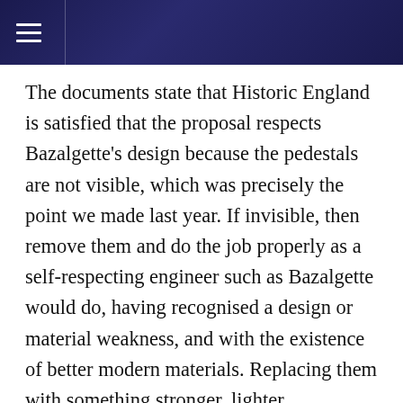The documents state that Historic England is satisfied that the proposal respects Bazalgette's design because the pedestals are not visible, which was precisely the point we made last year. If invisible, then remove them and do the job properly as a self-respecting engineer such as Bazalgette would do, having recognised a design or material weakness, and with the existence of better modern materials. Replacing them with something stronger, lighter, maintainable, and built offsite, allowing a quick like-for-like replacement (12 bolts), and future bearing maintenance, without all the onsite paraphernalia and disruption now planned, is the right thing to do, and also cheaper – especially long-